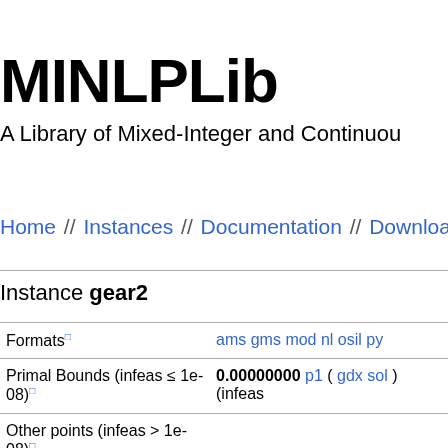MINLPLib
A Library of Mixed-Integer and Continuous
Home // Instances // Documentation // Download // Stati
Instance gear2
|  |  |
| --- | --- |
| Formats¹ | ams gms mod nl osil py |
| Primal Bounds (infeas ≤ 1e-08)¹ | 0.00000000 p1 ( gdx sol ) (infeas |
| Other points (infeas > 1e-08)¹ |  |
|  | -0.00000000 (ANTIGONE)
-0.00000000 (BARON) |